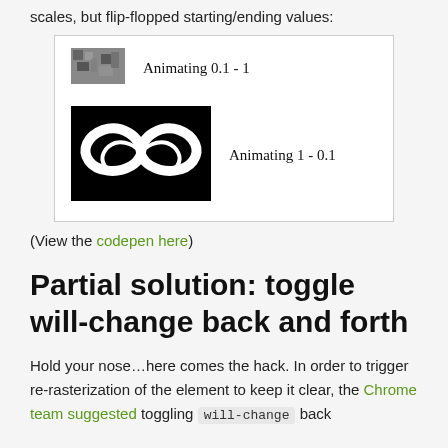scales, but flip-flopped starting/ending values:
[Figure (screenshot): Demo box showing two animation states: top row has a small blurry/pixelated image with label 'Animating 0.1 - 1'; bottom row has a large clear CodePen infinity-loop logo with label 'Animating 1 - 0.1']
(View the codepen here)
Partial solution: toggle will-change back and forth
Hold your nose…here comes the hack. In order to trigger re-rasterization of the element to keep it clear, the Chrome team suggested toggling will-change back